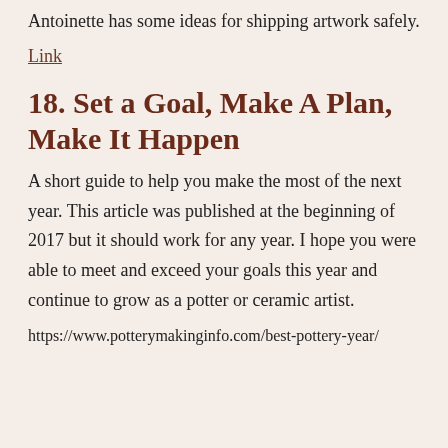Antoinette has some ideas for shipping artwork safely.
Link
18. Set a Goal, Make A Plan, Make It Happen
A short guide to help you make the most of the next year. This article was published at the beginning of 2017 but it should work for any year. I hope you were able to meet and exceed your goals this year and continue to grow as a potter or ceramic artist.
https://www.potterymakinginfo.com/best-pottery-year/